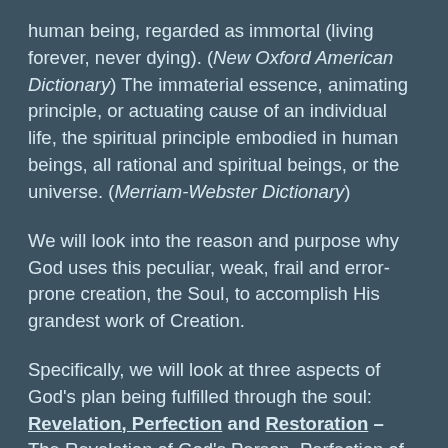human being, regarded as immortal (living forever, never dying). (New Oxford American Dictionary) The immaterial essence, animating principle, or actuating cause of an individual life, the spiritual principle embodied in human beings, all rational and spiritual beings, or the universe. (Merriam-Webster Dictionary)
We will look into the reason and purpose why God uses this peculiar, weak, frail and error-prone creation, the Soul, to accomplish His grandest work of Creation.
Specifically, we will look at three aspects of God's plan being fulfilled through the soul: Revelation, Perfection and Restoration – The Revelation of God's Person, Perfection of God's Power and the